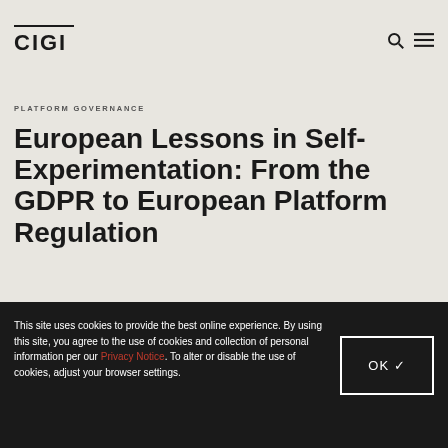CIGI
PLATFORM GOVERNANCE
European Lessons in Self-Experimentation: From the GDPR to European Platform Regulation
JORIS VAN HOBOKEN
June 20, 2022
This site uses cookies to provide the best online experience. By using this site, you agree to the use of cookies and collection of personal information per our Privacy Notice. To alter or disable the use of cookies, adjust your browser settings.